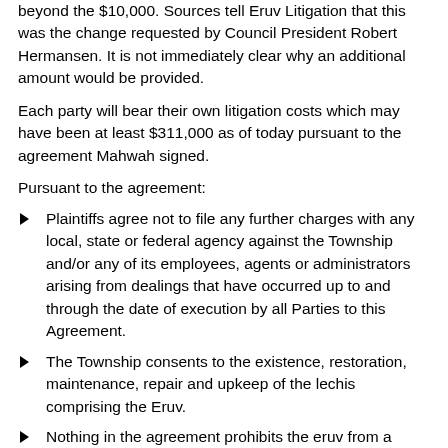beyond the $10,000. Sources tell Eruv Litigation that this was the change requested by Council President Robert Hermansen. It is not immediately clear why an additional amount would be provided.
Each party will bear their own litigation costs which may have been at least $311,000 as of today pursuant to the agreement Mahwah signed.
Pursuant to the agreement:
Plaintiffs agree not to file any further charges with any local, state or federal agency against the Township and/or any of its employees, agents or administrators arising from dealings that have occurred up to and through the date of execution by all Parties to this Agreement.
The Township consents to the existence, restoration, maintenance, repair and upkeep of the lechis comprising the Eruv.
Nothing in the agreement prohibits the eruv from a future expansion and / or modification within and / or outside the